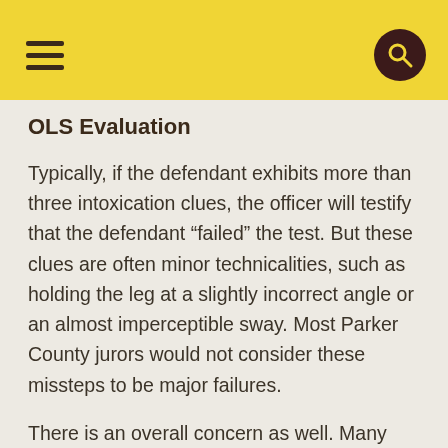[hamburger menu] [search icon]
OLS Evaluation
Typically, if the defendant exhibits more than three intoxication clues, the officer will testify that the defendant “failed” the test. But these clues are often minor technicalities, such as holding the leg at a slightly incorrect angle or an almost imperceptible sway. Most Parker County jurors would not consider these missteps to be major failures.
There is an overall concern as well. Many times, officers intentionally give incomplete